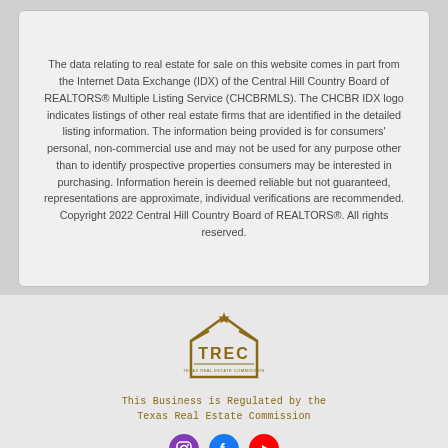The data relating to real estate for sale on this website comes in part from the Internet Data Exchange (IDX) of the Central Hill Country Board of REALTORS® Multiple Listing Service (CHCBRMLS). The CHCBR IDX logo indicates listings of other real estate firms that are identified in the detailed listing information. The information being provided is for consumers' personal, non-commercial use and may not be used for any purpose other than to identify prospective properties consumers may be interested in purchasing. Information herein is deemed reliable but not guaranteed, representations are approximate, individual verifications are recommended. Copyright 2022 Central Hill Country Board of REALTORS®. All rights reserved.
[Figure (logo): TREC logo — a house outline with a star above the letters TREC and text 'TEXAS REAL ESTATE COMMISSION' below, in gold/brown color]
This Business is Regulated by the Texas Real Estate Commission
[Figure (other): Three social media icons: Instagram (purple), Facebook (blue), YouTube (red)]